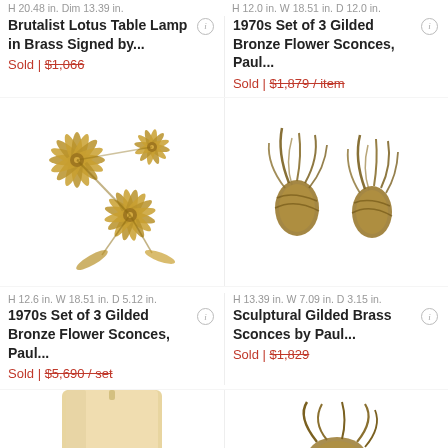H 20.48 in. Dim 13.39 in.
Brutalist Lotus Table Lamp in Brass Signed by...
Sold | $1,066
H 12.0 in. W 18.51 in. D 12.0 in.
1970s Set of 3 Gilded Bronze Flower Sconces, Paul...
Sold | $1,879 / item
[Figure (photo): Three gilded bronze flower sconces arranged in a cluster, gold metallic star-shaped flowers]
[Figure (photo): Two sculptural gilded brass sconces with organic twisted branch-like forms]
H 12.6 in. W 18.51 in. D 5.12 in.
1970s Set of 3 Gilded Bronze Flower Sconces, Paul...
Sold | $5,690 / set
H 13.39 in. W 7.09 in. D 3.15 in.
Sculptural Gilded Brass Sconces by Paul...
Sold | $1,829
[Figure (photo): Partial view of a cream/beige lamp base at the bottom of the page]
[Figure (photo): Partial view of a gilded bronze sculptural piece at the bottom right]